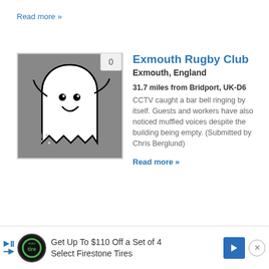Read more »
[Figure (illustration): Ghost cartoon illustration on grey background with a badge showing 0]
Exmouth Rugby Club
Exmouth, England
31.7 miles from Bridport, UK-D6
CCTV caught a bar bell ringing by itself. Guests and workers have also noticed muffled voices despite the building being empty. (Submitted by Chris Berglund)
Read more »
Get Up To $110 Off a Set of 4 Select Firestone Tires